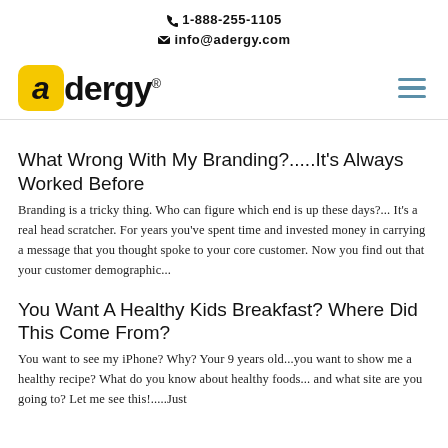1-888-255-1105
info@adergy.com
[Figure (logo): Adergy logo with yellow box containing italic 'a' and bold 'dergy' text, registered trademark symbol]
What Wrong With My Branding?.....It's Always Worked Before
Branding is a tricky thing. Who can figure which end is up these days?... It's a real head scratcher. For years you've spent time and invested money in carrying a message that you thought spoke to your core customer. Now you find out that your customer demographic...
You Want A Healthy Kids Breakfast? Where Did This Come From?
You want to see my iPhone? Why? Your 9 years old...you want to show me a healthy recipe? What do you know about healthy foods... and what site are you going to? Let me see this!.....Just